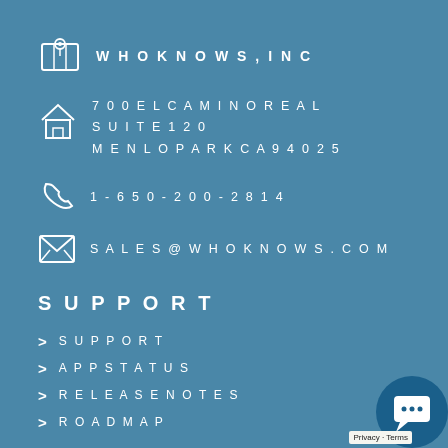WHOKNOWS, INC
700 EL CAMINO REAL
SUITE 120
MENLO PARK CA 94025
1-650-200-2814
SALES@WHOKNOWS.COM
SUPPORT
SUPPORT
APP STATUS
RELEASE NOTES
ROADMAP